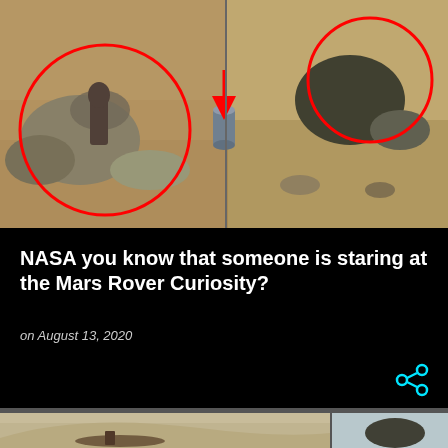[Figure (photo): Mars surface photo showing rocks with red circles highlighting anomalous shapes and a red arrow pointing to a cylindrical object. Collage of two images side by side.]
NASA you know that someone is staring at the Mars Rover Curiosity?
on August 13, 2020
[Figure (photo): Mars surface photos showing what appears to be a figure or object on the Martian ground, split into two panels side by side.]